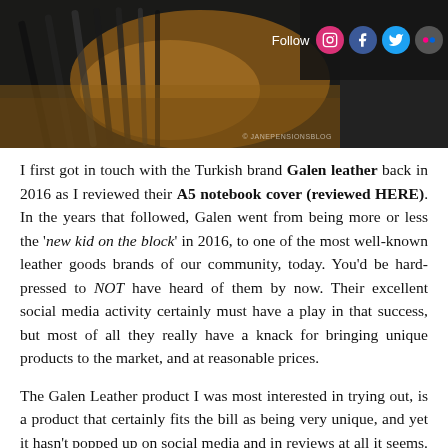[Figure (photo): Photo of pens/writing instruments with warm orange/brown tones, partially visible, with a social media follow bar overlay showing Instagram, Facebook, Twitter, Flickr, and RSS icons.]
I first got in touch with the Turkish brand Galen leather back in 2016 as I reviewed their A5 notebook cover (reviewed HERE). In the years that followed, Galen went from being more or less the 'new kid on the block' in 2016, to one of the most well-known leather goods brands of our community, today. You'd be hard-pressed to NOT have heard of them by now. Their excellent social media activity certainly must have a play in that success, but most of all they really have a knack for bringing unique products to the market, and at reasonable prices.
The Galen Leather product I was most interested in trying out, is a product that certainly fits the bill as being very unique, and yet it hasn't popped up on social media and in reviews at all it seems. Perhaps it's being overshadowed by the success of Galen's own Writers Medic Bags, or Zip Portfolios, two products that are very hip and trendy on the 'Gram (for good reason, they look stunning!). But let's change that, and shine some light on the Galen Zippered 10-pen case and A5 notebook holder... Not the kind of